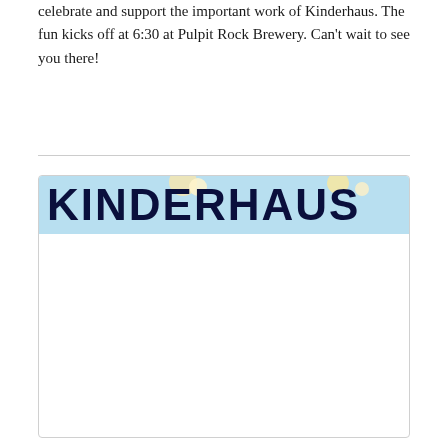celebrate and support the important work of Kinderhaus. The fun kicks off at 6:30 at Pulpit Rock Brewery. Can't wait to see you there!
[Figure (illustration): Partial view of a Kinderhaus banner/logo on a light blue background with large dark navy bold letters partially visible at the top of a white card/box.]